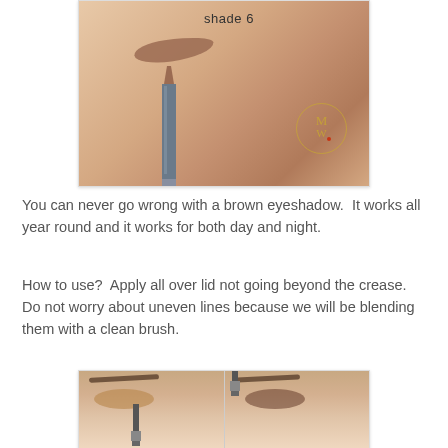[Figure (photo): Photo of a hand/wrist with a brown eyeshadow pencil swatch labeled 'shade 6' and a gray cosmetic pencil lying diagonally, with a small watermark logo in the corner.]
You can never go wrong with a brown eyeshadow.  It works all year round and it works for both day and night.
How to use?  Apply all over lid not going beyond the crease.  Do not worry about uneven lines because we will be blending them with a clean brush.
[Figure (photo): Two side-by-side close-up photos of a person applying brown eyeshadow with a brush to closed and open eyes.]